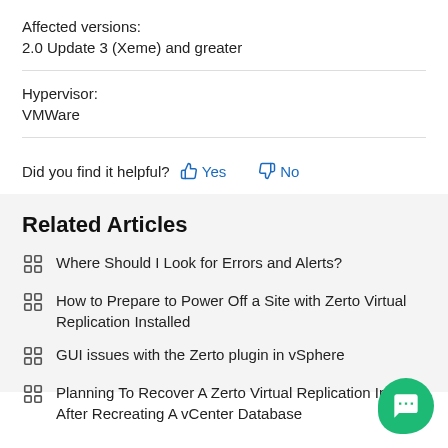Affected versions:
2.0 Update 3 (Xeme) and greater
Hypervisor:
VMWare
Did you find it helpful? Yes No
Related Articles
Where Should I Look for Errors and Alerts?
How to Prepare to Power Off a Site with Zerto Virtual Replication Installed
GUI issues with the Zerto plugin in vSphere
Planning To Recover A Zerto Virtual Replication Installation After Recreating A vCenter Database